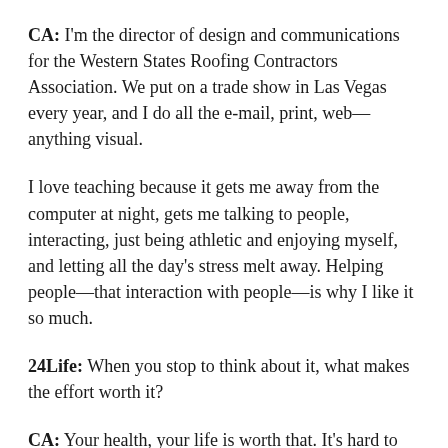CA: I'm the director of design and communications for the Western States Roofing Contractors Association. We put on a trade show in Las Vegas every year, and I do all the e-mail, print, web—anything visual.
I love teaching because it gets me away from the computer at night, gets me talking to people, interacting, just being athletic and enjoying myself, and letting all the day's stress melt away. Helping people—that interaction with people—is why I like it so much.
24Life: When you stop to think about it, what makes the effort worth it?
CA: Your health, your life is worth that. It's hard to stay consistent, especially if you're just getting back into it after a long time, or maybe you're not where you want to be physically with your level of fitness. To me, it's worth it